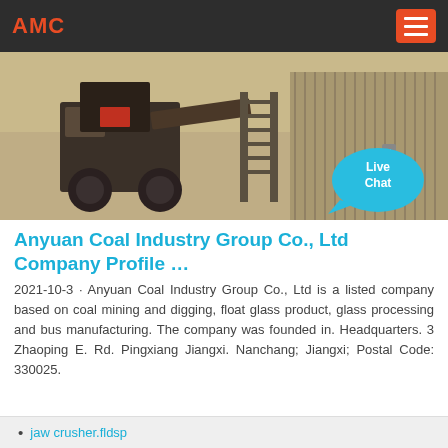AMC
[Figure (photo): Mining/crushing machinery on a sandy construction or quarry site, aerial/angled view. Live Chat bubble overlay in lower right.]
Anyuan Coal Industry Group Co., Ltd Company Profile …
2021-10-3 · Anyuan Coal Industry Group Co., Ltd is a listed company based on coal mining and digging, float glass product, glass processing and bus manufacturing. The company was founded in. Headquarters. 3 Zhaoping E. Rd. Pingxiang Jiangxi. Nanchang; Jiangxi; Postal Code: 330025.
jaw crusher.fldsp